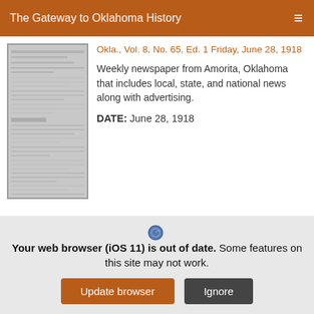The Gateway to Oklahoma History
[Figure (photo): Thumbnail of a historical newspaper page from Amorita, Oklahoma, shown as a grayscale scanned image.]
Okla., Vol. 8, No. 65, Ed. 1 Friday, June 28, 1918
Weekly newspaper from Amorita, Oklahoma that includes local, state, and national news along with advertising.
DATE: June 28, 1918
CREATOR: Millspaugh, Lawrence
PARTNER: Oklahoma Historical Society
Your web browser (iOS 11) is out of date. Some features on this site may not work.